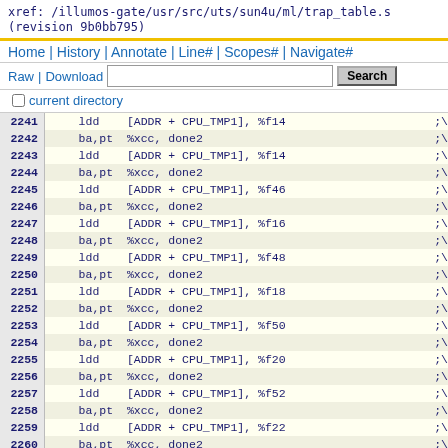xref: /illumos-gate/usr/src/uts/sun4u/ml/trap_table.s
(revision 9b0bb795)
Home | History | Annotate | Line# | Scopes# | Navigate#
Raw | Download  [search box] Search
current directory
2241    ldd    [ADDR + CPU_TMP1], %f14          ;\
2242    ba,pt  %xcc, done2                  ;\
2243    ldd    [ADDR + CPU_TMP1], %f14      ;\
2244    ba,pt  %xcc, done2                  ;\
2245    ldd    [ADDR + CPU_TMP1], %f46      ;\
2246    ba,pt  %xcc, done2                  ;\
2247    ldd    [ADDR + CPU_TMP1], %f16      ;\
2248    ba,pt  %xcc, done2                  ;\
2249    ldd    [ADDR + CPU_TMP1], %f48      ;\
2250    ba,pt  %xcc, done2                  ;\
2251    ldd    [ADDR + CPU_TMP1], %f18      ;\
2252    ba,pt  %xcc, done2                  ;\
2253    ldd    [ADDR + CPU_TMP1], %f50      ;\
2254    ba,pt  %xcc, done2                  ;\
2255    ldd    [ADDR + CPU_TMP1], %f20      ;\
2256    ba,pt  %xcc, done2                  ;\
2257    ldd    [ADDR + CPU_TMP1], %f52      ;\
2258    ba,pt  %xcc, done2                  ;\
2259    ldd    [ADDR + CPU_TMP1], %f22      ;\
2260    ba,pt  %xcc, done2                  ;\
2261    ldd    [ADDR + CPU_TMP1], %f54      ;\
2262    ba,pt  %xcc, done2                  ;\
2263    ldd    [ADDR + CPU_TMP1], %f24      ;\
2264    ba,pt  %xcc, done2                  ;\
2265    ldd    [ADDR + CPU_TMP1], %f56      ;\